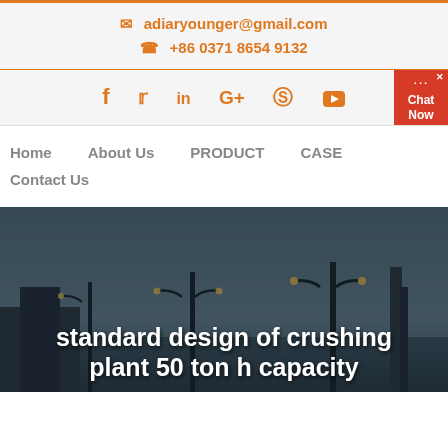adiaryounger@gmail.com  +86 0371 8654 9132
[Figure (screenshot): Social media icons: Facebook, Twitter, LinkedIn, Google+, Pinterest, YouTube — with a red Chat Now badge on the right]
Home  About Us  PRODUCT  CASE
Contact Us
[Figure (photo): Industrial crushing plant at dusk with street lamps in the foreground and machinery in the background]
standard design of crushing plant 50 ton h capacity